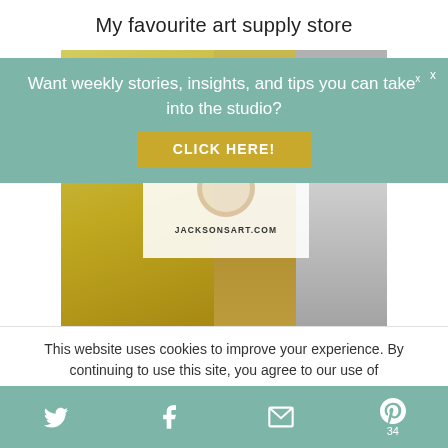My favourite art supply store
[Figure (infographic): Banner overlay with teal background showing newsletter signup prompt: 'Want weekly stories, insights, and tips you can take into the studio?' with a gold 'CLICK HERE!' button and an X close button]
[Figure (photo): Photo of Jackson's art supply store product image showing glass jars with yellow/golden liquid and a white logo card overlay reading "Jackson's" in cursive with JACKSONSART.COM beneath it]
This website uses cookies to improve your experience. By continuing to use this site, you agree to our use of
Twitter | Facebook | Email | Pinterest 34